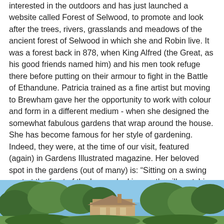interested in the outdoors and has just launched a website called Forest of Selwood, to promote and look after the trees, rivers, grasslands and meadows of the ancient forest of Selwood in which she and Robin live. It was a forest back in 878, when King Alfred (the Great, as his good friends named him) and his men took refuge there before putting on their armour to fight in the Battle of Ethandune. Patricia trained as a fine artist but moving to Brewham gave her the opportunity to work with colour and form in a different medium - when she designed the somewhat fabulous gardens that wrap around the house. She has become famous for her style of gardening. Indeed, they were, at the time of our visit, featured (again) in Gardens Illustrated magazine. Her beloved spot in the gardens (out of many) is: “Sitting on a swing seat at the front of the house, looking up the rill, watching the dragonflies flying up and down. In the shade of one of my favourite plants Elaeagus Quicksilver, a deciduous shrub with attractive silvery, willow-like leaves. Clusters of inconspicuous, yet highly fragrant yellow flowers appear on it in the summer.”
[Figure (photo): Exterior photo of a stone or brick building with trees and garden, partially visible at the bottom of the page.]